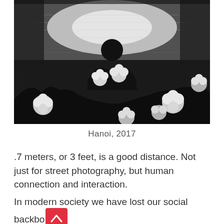[Figure (photo): Black and white photograph of a person silhouetted against a reflective water background, surrounded by white dahlia flowers in the foreground. Taken in Hanoi, 2017.]
Hanoi, 2017
.7 meters, or 3 feet, is a good distance. Not just for street photography, but human connection and interaction.
In modern society we have lost our social backbo… We are afraid of “bothering” others, making small talk,